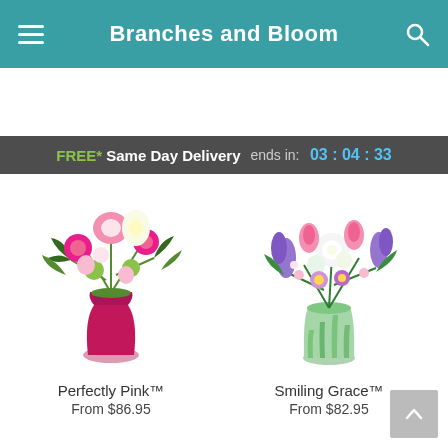Branches and Bloom
FREE* Same Day Delivery ends in: 03 : 04 : 33
[Figure (photo): Perfectly Pink floral arrangement in a dark red vase with pink lilies, roses, and green flowers]
Perfectly Pink™
From $86.95
[Figure (photo): Smiling Grace floral arrangement in a striped green glass vase with white roses, purple and pink flowers]
Smiling Grace™
From $82.95